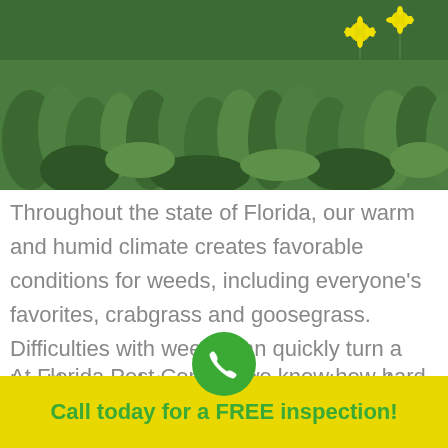[Figure (photo): Green grass lawn with yellow dandelion flowers in the upper right corner]
Throughout the state of Florida, our warm and humid climate creates favorable conditions for weeds, including everyone's favorites, crabgrass and goosegrass. Difficulties with weeds can quickly turn a healthy lawn into something much harder to care for. Preventative lawn measures are the key to preventing weeds from taking over your lawn.
At Florida Pest Control, we know how hard you work to maintain your lawn and we're here to help
[Figure (illustration): Green circle phone icon button]
Call today for a FREE inspection!